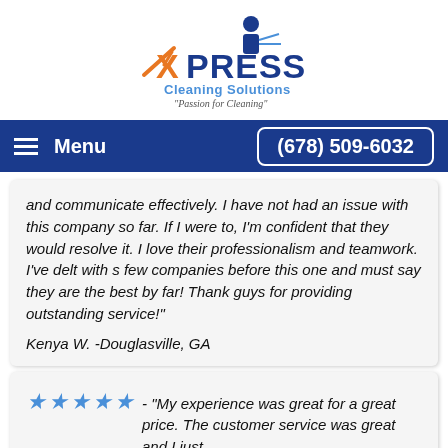[Figure (logo): Xpress Cleaning Solutions logo with text 'Passion for Cleaning']
Menu   (678) 509-6032
and communicate effectively. I have not had an issue with this company so far. If I were to, I'm confident that they would resolve it. I love their professionalism and teamwork. I've delt with s few companies before this one and must say they are the best by far! Thank guys for providing outstanding service!"
Kenya W. -Douglasville, GA
★★★★★ - "My experience was great for a great price. The customer service was great and I just